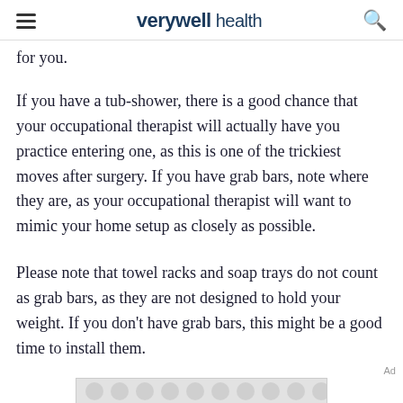verywell health
for you.
If you have a tub-shower, there is a good chance that your occupational therapist will actually have you practice entering one, as this is one of the trickiest moves after surgery. If you have grab bars, note where they are, as your occupational therapist will want to mimic your home setup as closely as possible.
Please note that towel racks and soap trays do not count as grab bars, as they are not designed to hold your weight. If you don't have grab bars, this might be a good time to install them.
[Figure (other): Advertisement banner with decorative grey circle pattern background]